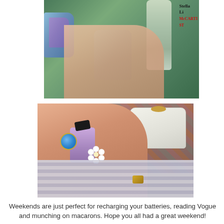[Figure (photo): Close-up photo of hands with painted nails (blue glitter and sage green), holding a sage green nail polish bottle. Text overlay in upper right reads 'Stella Li... McCART... ST...' in black and red.]
[Figure (photo): Photo of a hand holding a small purple perfume/fragrance bottle with a black bow, wearing a blue opal ring and a white flower ring. Background shows a white handbag, decorative carpet, and a striped shirt. A gold bracelet charm is visible.]
Weekends are just perfect for recharging your batteries, reading Vogue and munching on macarons. Hope you all had a great weekend!